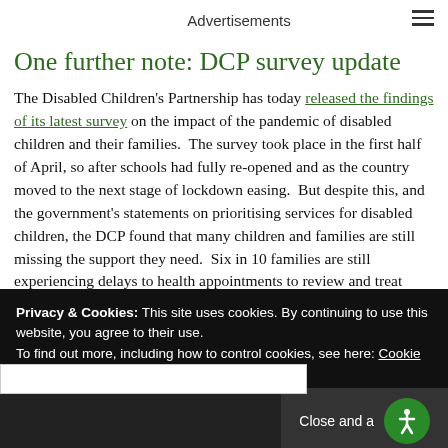Advertisements
One further note: DCP survey update
The Disabled Children's Partnership has today released the findings of its latest survey on the impact of the pandemic of disabled children and their families.  The survey took place in the first half of April, so after schools had fully re-opened and as the country moved to the next stage of lockdown easing.  But despite this, and the government's statements on prioritising services for disabled children, the DCP found that many children and families are still missing the support they need.  Six in 10 families are still experiencing delays to health appointments to review and treat long-te... b... re...
Privacy & Cookies: This site uses cookies. By continuing to use this website, you agree to their use.
To find out more, including how to control cookies, see here: Cookie Policy
Close and a...